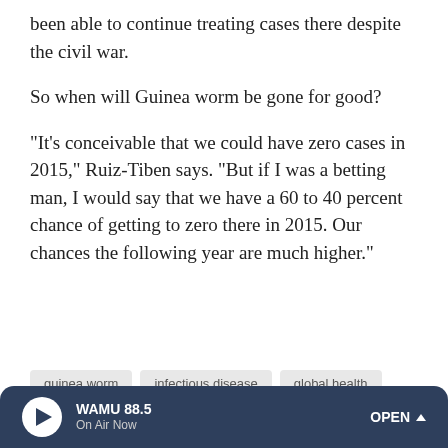been able to continue treating cases there despite the civil war.
So when will Guinea worm be gone for good?
"It's conceivable that we could have zero cases in 2015," Ruiz-Tiben says. "But if I was a betting man, I would say that we have a 60 to 40 percent chance of getting to zero there in 2015. Our chances the following year are much higher."
guinea worm
infectious disease
global health
WAMU 88.5  On Air Now  OPEN